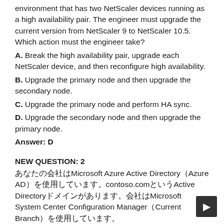environment that has two NetScaler devices running as a high availability pair. The engineer must upgrade the current version from NetScaler 9 to NetScaler 10.5.
Which action must the engineer take?
A. Break the high availability pair, upgrade each NetScaler device, and then reconfigure high availability.
B. Upgrade the primary node and then upgrade the secondary node.
C. Upgrade the primary node and perform HA sync.
D. Upgrade the secondary node and then upgrade the primary node.
Answer: D
NEW QUESTION: 2
あなたの会社はMicrosoft Azure Active Directory（Azure AD）を使用しています。contoso.comというActive Directoryドメインがあります。会社はMicrosoft System Center Configuration Manager（Current Branch）を使用しています。会社はWindows 10を展開しています。